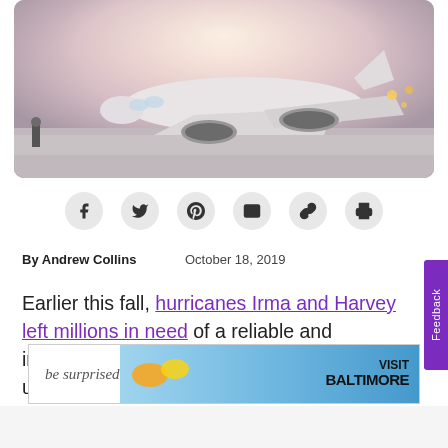[Figure (photo): An airplane on a snowy tarmac at night, with foggy/misty conditions and airport lights in the background]
[Figure (infographic): Social sharing icons: Facebook, Twitter, Pinterest, Email, Link, Print]
By Andrew Collins   October 18, 2019
Earlier this fall, hurricanes Irma and Harvey left millions in need of a reliable and immediate travel solution. Now, with the unpredictable holiday season fast approaching, the importance of understanding how best to navigate the travel landscape when
[Figure (other): Advertisement banner: 'be surprised' text with Visit Baltimore branding and colorful imagery]